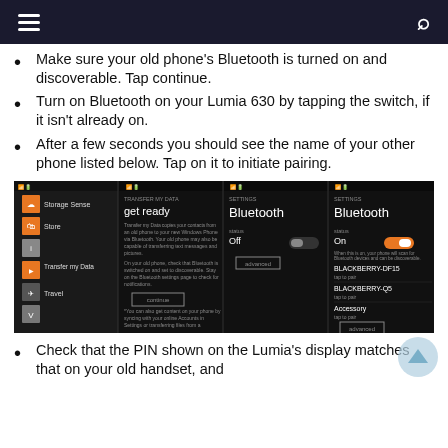≡  🔍
Make sure your old phone's Bluetooth is turned on and discoverable. Tap continue.
Turn on Bluetooth on your Lumia 630 by tapping the switch, if it isn't already on.
After a few seconds you should see the name of your other phone listed below. Tap on it to initiate pairing.
[Figure (screenshot): Four Windows Phone screenshots showing: (1) Settings menu with Transfer my Data option highlighted, (2) Transfer my Data 'get ready' screen with continue button, (3) Bluetooth settings with Status Off and advanced button, (4) Bluetooth settings with Status On (orange toggle) showing discovered devices BLACKBERRY-DF15, BLACKBERRY-Q5, Accessory, and advanced button.]
Check that the PIN shown on the Lumia's display matches that on your old handset, and